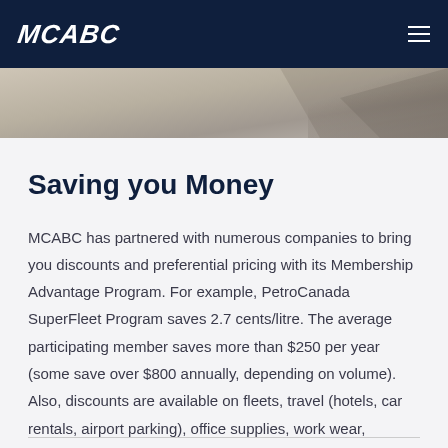MCABC
[Figure (photo): Hero banner image with decorative background showing a textured surface]
Saving you Money
MCABC has partnered with numerous companies to bring you discounts and preferential pricing with its Membership Advantage Program. For example, PetroCanada SuperFleet Program saves 2.7 cents/litre. The average participating member saves more than $250 per year (some save over $800 annually, depending on volume). Also, discounts are available on fleets, travel (hotels, car rentals, airport parking), office supplies, work wear, welding and cutting products.